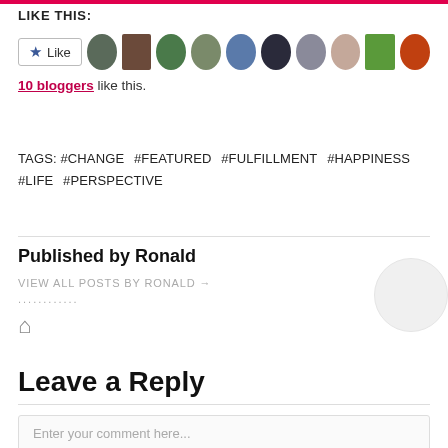LIKE THIS:
[Figure (other): Like button with 10 blogger avatars and '10 bloggers like this.' text link]
TAGS: #CHANGE #FEATURED #FULFILLMENT #HAPPINESS #LIFE #PERSPECTIVE
Published by Ronald
VIEW ALL POSTS BY RONALD →
............
⌂
Leave a Reply
Enter your comment here...